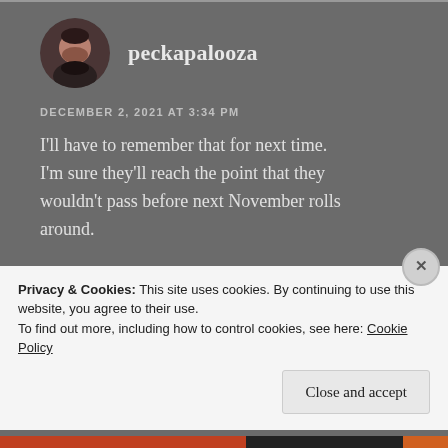[Figure (photo): Circular avatar photo of a man with a beard wearing a dark sweater]
peckapalooza
DECEMBER 2, 2021 AT 3:34 PM
I'll have to remember that for next time. I'm sure they'll reach the point that they wouldn't pass before next November rolls around.
Liked by 1 person
Privacy & Cookies: This site uses cookies. By continuing to use this website, you agree to their use.
To find out more, including how to control cookies, see here: Cookie Policy
Close and accept